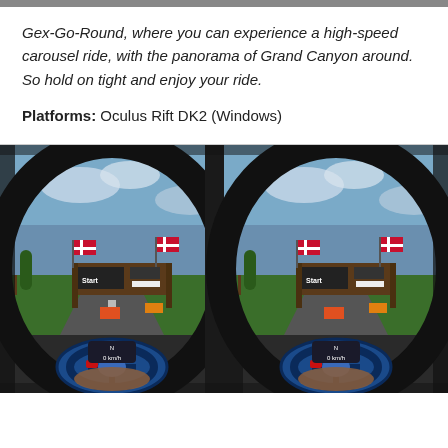Gex-Go-Round, where you can experience a high-speed carousel ride, with the panorama of Grand Canyon around. So hold on tight and enjoy your ride.
Platforms: Oculus Rift DK2 (Windows)
[Figure (screenshot): Dual-eye VR view of a go-kart racing game showing a start/finish gantry with Danish flags, karts on track, steering wheel in foreground, and speed display showing 0 km/h. The image is split into two identical panels for stereoscopic VR viewing.]